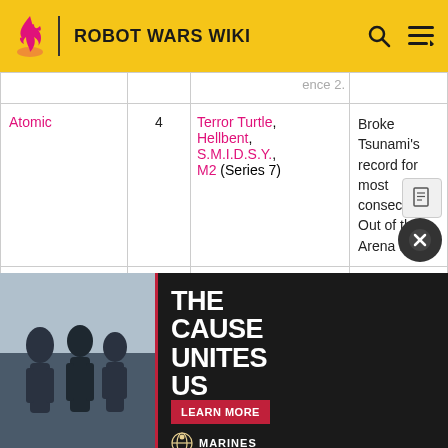ROBOT WARS WIKI
| Robot | Count | Victims | Notes |
| --- | --- | --- | --- |
| Atomic | 4 | Terror Turtle, Hellbent, S.M.I.D.S.Y., M2 (Series 7) | Broke Tsunami's record for most consecutive Out of the Arena flips. |
| Apollo | 4 | Storm 2 (Series 8) Coyote (Series 9) The Swarm†, | Only robot in the reboot to achieve an out of the arena fl... over the ...d ...l ...f the ...0 |
[Figure (screenshot): Advertisement overlay: 'THE CAUSE UNITES US' Marines recruitment ad with soldiers image and LEARN MORE button]